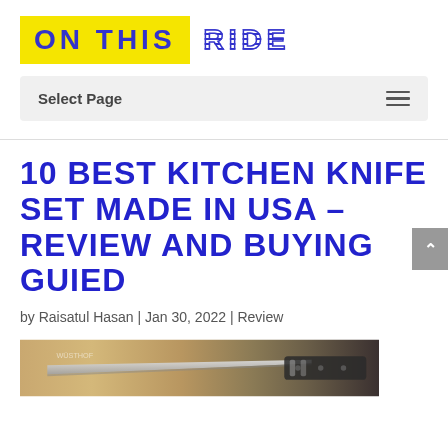ON THIS RIDE
Select Page
10 BEST KITCHEN KNIFE SET MADE IN USA – REVIEW AND BUYING GUIED
by Raisatul Hasan | Jan 30, 2022 | Review
[Figure (photo): Photo of a kitchen knife on a wooden surface]